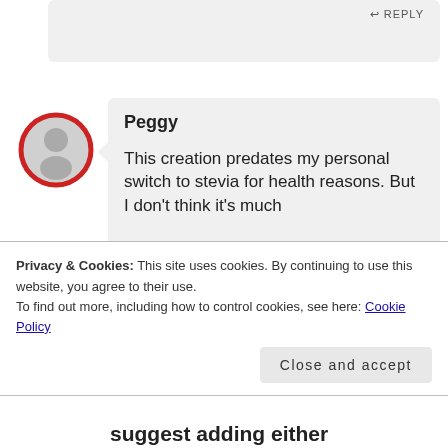[Figure (illustration): Partially visible gray comment bubble at the top of the page with a reply button label visible in top right corner]
[Figure (illustration): Circular user avatar icon with red border, gray background, and a generic person silhouette in the center]
Peggy
This creation predates my personal switch to stevia for health reasons. But I don’t think it’s much
Privacy & Cookies: This site uses cookies. By continuing to use this website, you agree to their use.
To find out more, including how to control cookies, see here: Cookie Policy
Close and accept
suggest adding either